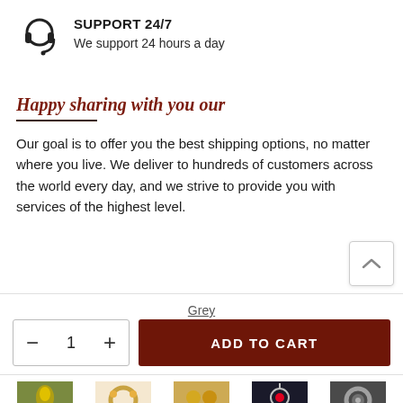[Figure (illustration): Headset/headphone customer support icon]
SUPPORT 24/7
We support 24 hours a day
Happy sharing with you our
Our goal is to offer you the best shipping options, no matter where you live. We deliver to hundreds of customers across the world every day, and we strive to provide you with services of the highest level.
Grey
- 1 +
ADD TO CART
[Figure (photo): Pendant category thumbnail]
Pendant
[Figure (photo): Bracelet category thumbnail]
Bracelet
[Figure (photo): Jewelry set category thumbnail]
Jewelry set
[Figure (photo): Necklace category thumbnail]
Necklace
[Figure (photo): Rings category thumbnail]
Rings